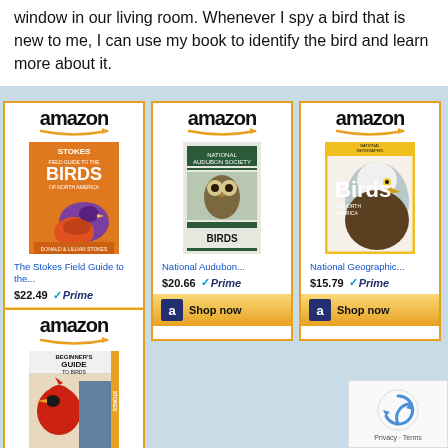window in our living room. Whenever I spy a bird that is new to me, I can use my book to identify the bird and learn more about it.
[Figure (screenshot): Amazon product cards for bird field guides: The Stokes Field Guide to the... ($22.49, Prime), National Audubon... ($20.66, Prime), National Geographic... ($15.79, Prime), and a fourth card for Beginner's Guide to Birds (partial). Each card has Amazon logo, book cover image, title, price, Prime badge, and Shop now button.]
[Figure (screenshot): reCAPTCHA widget with Privacy and Terms links]